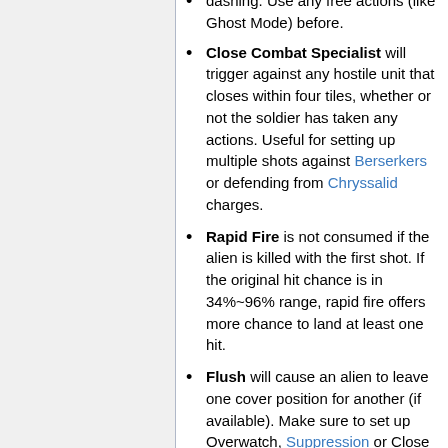dashing. Use any free actions (like Ghost Mode) before.
Close Combat Specialist will trigger against any hostile unit that closes within four tiles, whether or not the soldier has taken any actions. Useful for setting up multiple shots against Berserkers or defending from Chryssalid charges.
Rapid Fire is not consumed if the alien is killed with the first shot. If the original hit chance is in 34%~96% range, rapid fire offers more chance to land at least one hit.
Flush will cause an alien to leave one cover position for another (if available). Make sure to set up Overwatch, Suppression or Close Combat Specialist shots beforehand.
Extra Conditioning gives +1 health